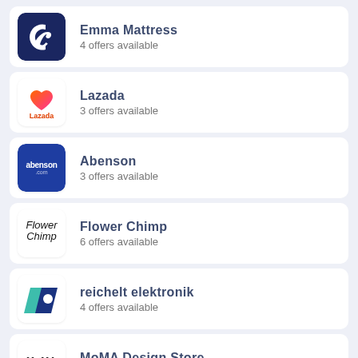Emma Mattress — 4 offers available
Lazada — 3 offers available
Abenson — 3 offers available
Flower Chimp — 6 offers available
reichelt elektronik — 4 offers available
MoMA Design Store — 8 offers available